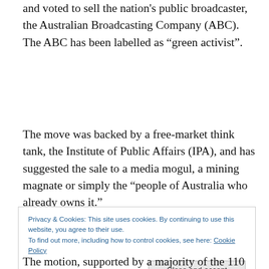and voted to sell the nation's public broadcaster, the Australian Broadcasting Company (ABC). The ABC has been labelled as “green activist”.
The move was backed by a free-market think tank, the Institute of Public Affairs (IPA), and has suggested the sale to a media mogul, a mining magnate or simply the “people of Australia who already owns it.”
Privacy & Cookies: This site uses cookies. By continuing to use this website, you agree to their use.
To find out more, including how to control cookies, see here: Cookie Policy
The motion, supported by a majority of the 110 delegates